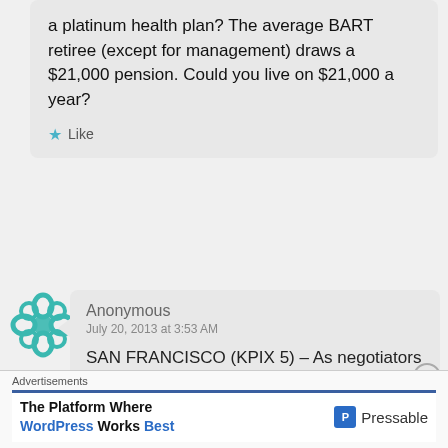a platinum health plan? The average BART retiree (except for management) draws a $21,000 pension. Could you live on $21,000 a year?
★ Like
Anonymous
July 20, 2013 at 3:53 AM
SAN FRANCISCO (KPIX 5) – As negotiators for Bay Area Rapid
Advertisements
The Platform Where WordPress Works Best   Pressable